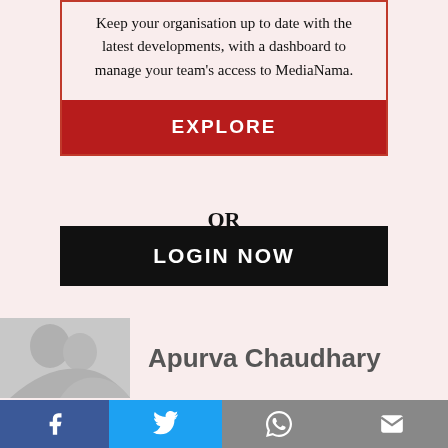Keep your organisation up to date with the latest developments, with a dashboard to manage your team's access to MediaNama.
EXPLORE
OR
LOGIN NOW
Apurva Chaudhary